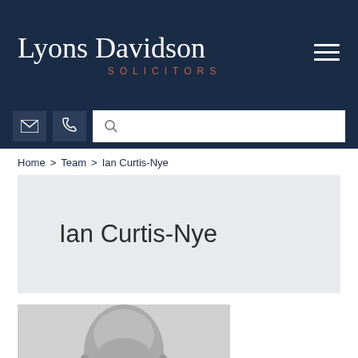Lyons Davidson SOLICITORS
Home > Team > Ian Curtis-Nye
Ian Curtis-Nye
[Figure (photo): Black and white professional headshot photo of Ian Curtis-Nye, a bald man wearing glasses, cropped at the chin/neck area]